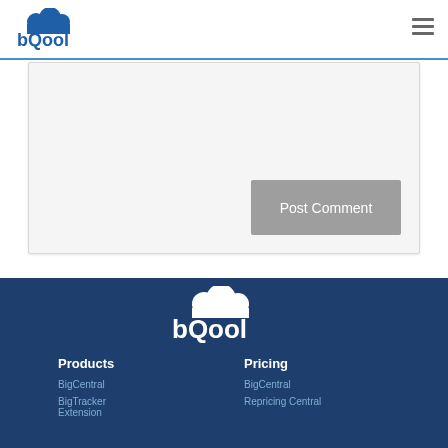[Figure (logo): BQool logo in page header — cloud icon above stylized 'bQool' text in blue]
[Figure (other): Hamburger menu icon (three horizontal lines) in top right corner]
Post Comment
[Figure (logo): BQool logo in white on dark blue footer background]
Products
Pricing
BigCentral
BigTracker Extension
BigCentral
Repricing Central